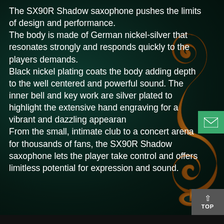The SX90R Shadow saxophone pushes the limits of design and performance. The body is made of German nickel-silver that resonates strongly and responds quickly to the players demands. Black nickel plating coats the body adding depth to the well centered and powerful sound. The inner bell and key work are silver plated to highlight the extensive hand engraving for a vibrant and dazzling appearance. From the small, intimate club to a concert arena for thousands of fans, the SX90R Shadow saxophone lets the player take control and offers limitless potential for expression and sound.
[Figure (illustration): A decorative brown treble clef (music note symbol) overlaid on the right side of the page background]